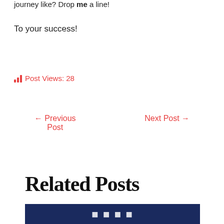journey like? Drop me a line!
To your success!
Post Views: 28
← Previous Post
Next Post →
Related Posts
[Figure (photo): Dark blue banner image at bottom, partially visible]